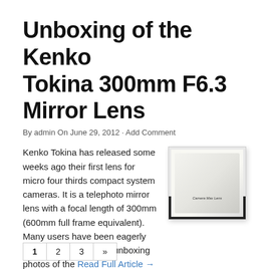Unboxing of the Kenko Tokina 300mm F6.3 Mirror Lens
By admin On June 29, 2012 · Add Comment
Kenko Tokina has released some weeks ago their first lens for micro four thirds compact system cameras. It is a telephoto mirror lens with a focal length of 300mm (600mm full frame equivalent). Many users have been eagerly waiting for the day the unboxing photos of the Read Full Article →
[Figure (photo): Photo of white cloth/cleaning cloth with text 'Camera Max Lens' on dark background, likely the Kenko Tokina 300mm lens packaging or accessory]
1  2  3  »